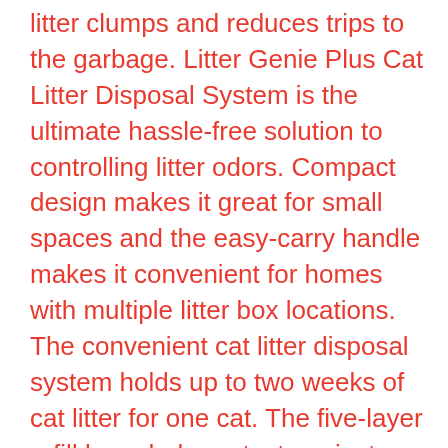litter clumps and reduces trips to the garbage. Litter Genie Plus Cat Litter Disposal System is the ultimate hassle-free solution to controlling litter odors. Compact design makes it great for small spaces and the easy-carry handle makes it convenient for homes with multiple litter box locations. The convenient cat litter disposal system holds up to two weeks of cat litter for one cat. The five-layer refill bags help protect against odors. Easy to use, convenient system provides ultimate odor control so your house smells fresh. Complete Litter System for Odor Control The Litter Genie Plus Cat Litter Disposal System offers convenient odor control that lets you seal away litter clumps to help protect against odors. The easy-to-use system works in three steps--scoop clumps from your litter box, drop them in the Litter Genie Plus Pail and pull the handle to seal in odors. Designed to hold up to two weeks of cat litter, the pail eliminates daily